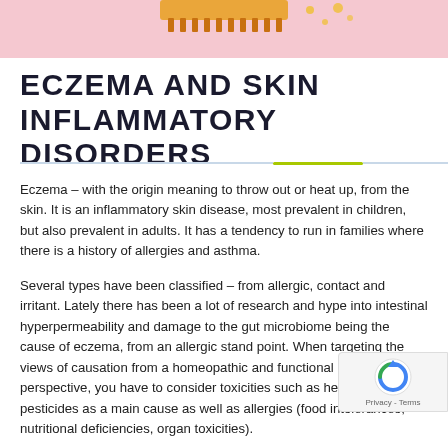[Figure (illustration): Partial anatomical cross-section illustration of skin layers with a label 'Muscle' visible at bottom right, with pinkish background and decorative golden comb-like element at top]
ECZEMA AND SKIN INFLAMMATORY DISORDERS
Eczema – with the origin meaning to throw out or heat up, from the skin. It is an inflammatory skin disease, most prevalent in children, but also prevalent in adults. It has a tendency to run in families where there is a history of allergies and asthma.
Several types have been classified – from allergic, contact and irritant. Lately there has been a lot of research and hype into intestinal hyperpermeability and damage to the gut microbiome being the cause of eczema, from an allergic stand point. When targeting the views of causation from a homeopathic and functional medicine perspective, you have to consider toxicities such as heavy metals and pesticides as a main cause as well as allergies (food intolerances, nutritional deficiencies, organ toxicities).
The skin, lungs and intestines are interconnected. We often see gut problems in children leading to eczema. This is